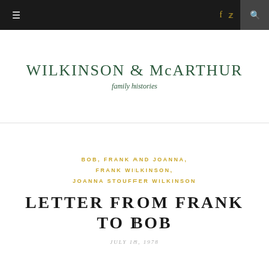≡  f  🐦  🔍
WILKINSON & McARTHUR
family histories
BOB, FRANK AND JOANNA,
FRANK WILKINSON,
JOANNA STOUFFER WILKINSON
LETTER FROM FRANK TO BOB
JULY 18, 1978